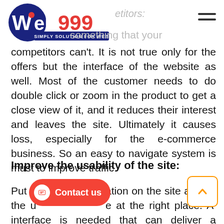web999 - Simply Solution For Web
competitors can't. It is not true only for the offers but the interface of the website as well. Most of the customer needs to do double click or zoom in the product to get a close view of it, and it reduces their interest and leaves the site. Ultimately it causes loss, especially for the e-commerce business. So an easy to navigate system is must to improve traffic.
Improve the usability of the site:
Put the exact information on the site and let the users navigate at the right place. A good interface is needed that can deliver a perfect